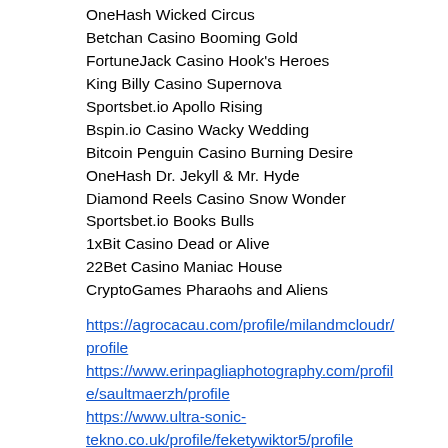OneHash Wicked Circus
Betchan Casino Booming Gold
FortuneJack Casino Hook's Heroes
King Billy Casino Supernova
Sportsbet.io Apollo Rising
Bspin.io Casino Wacky Wedding
Bitcoin Penguin Casino Burning Desire
OneHash Dr. Jekyll & Mr. Hyde
Diamond Reels Casino Snow Wonder
Sportsbet.io Books Bulls
1xBit Casino Dead or Alive
22Bet Casino Maniac House
CryptoGames Pharaohs and Aliens
https://agrocacau.com/profile/milandmcloudr/profile
https://www.erinpagliaphotography.com/profile/saultmaerzh/profile
https://www.ultra-sonic-tekno.co.uk/profile/feketywiktor5/profile
https://themonkeysontheroad.com/profile/potterguytone/profile